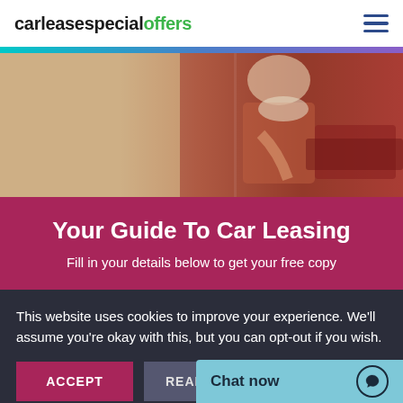carleasespecialoffers
[Figure (photo): Hero image showing a person next to a red car, blurred background with warm tones]
Your Guide To Car Leasing
Fill in your details below to get your free copy
This website uses cookies to improve your experience. We'll assume you're okay with this, but you can opt-out if you wish.
ACCEPT
READ MORE
Chat now